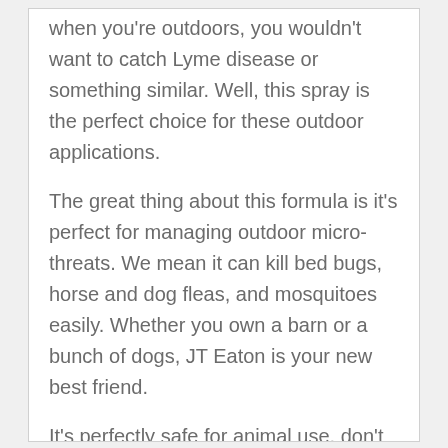when you're outdoors, you wouldn't want to catch Lyme disease or something similar. Well, this spray is the perfect choice for these outdoor applications.
The great thing about this formula is it's perfect for managing outdoor micro-threats. We mean it can kill bed bugs, horse and dog fleas, and mosquitoes easily. Whether you own a barn or a bunch of dogs, JT Eaton is your new best friend.
It's perfectly safe for animal use, don't worry. Dogs won't even get sick, but